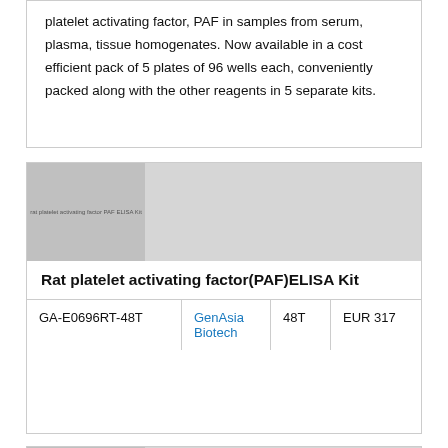platelet activating factor, PAF in samples from serum, plasma, tissue homogenates. Now available in a cost efficient pack of 5 plates of 96 wells each, conveniently packed along with the other reagents in 5 separate kits.
[Figure (photo): Product image placeholder for Rat platelet activating factor (PAF) ELISA Kit showing gray placeholder with text 'rat platelet activating factor PAF ELISA Kit']
| Code | Supplier | Size | Price |
| --- | --- | --- | --- |
| GA-E0696RT-48T | GenAsia Biotech | 48T | EUR 317 |
[Figure (photo): Product image placeholder for another Rat platelet activating factor PAF ELISA Kit (second product card, partially visible)]